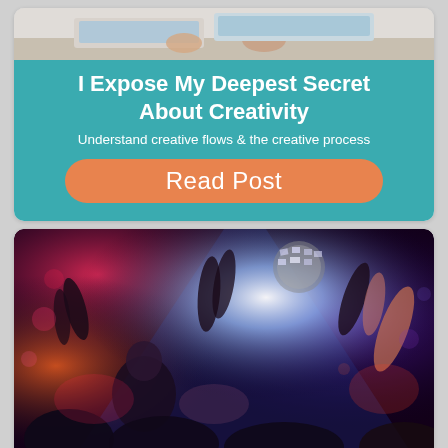[Figure (photo): Top partial photo of a person at a desk/laptop, cropped at bottom, light background]
I Expose My Deepest Secret About Creativity
Understand creative flows & the creative process
Read Post
[Figure (photo): Concert crowd photo with hands raised, colorful stage lighting in red, pink, blue and white, disco ball visible, dark background]